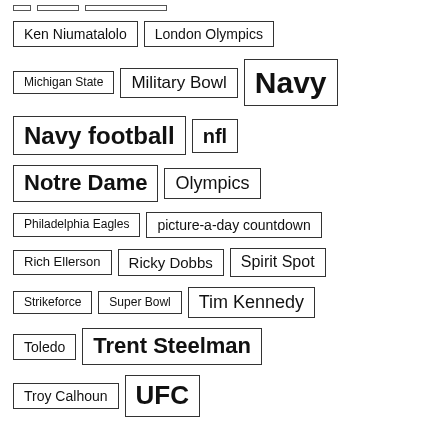Ken Niumatalolo
London Olympics
Michigan State
Military Bowl
Navy
Navy football
nfl
Notre Dame
Olympics
Philadelphia Eagles
picture-a-day countdown
Rich Ellerson
Ricky Dobbs
Spirit Spot
Strikeforce
Super Bowl
Tim Kennedy
Toledo
Trent Steelman
Troy Calhoun
UFC